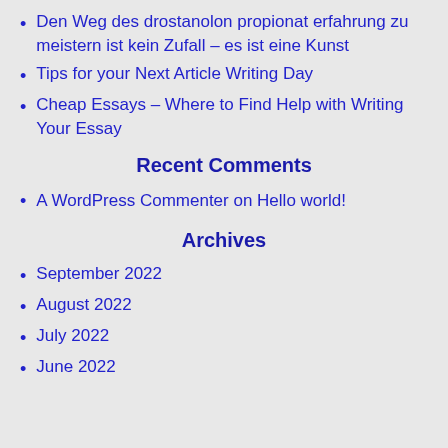Den Weg des drostanolon propionat erfahrung zu meistern ist kein Zufall – es ist eine Kunst
Tips for your Next Article Writing Day
Cheap Essays – Where to Find Help with Writing Your Essay
Recent Comments
A WordPress Commenter on Hello world!
Archives
September 2022
August 2022
July 2022
June 2022